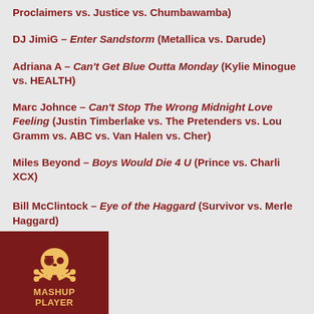Proclaimers vs. Justice vs. Chumbawamba)
DJ JimiG – Enter Sandstorm (Metallica vs. Darude)
Adriana A – Can't Get Blue Outta Monday (Kylie Minogue vs. HEALTH)
Marc Johnce – Can't Stop The Wrong Midnight Love Feeling (Justin Timberlake vs. The Pretenders vs. Lou Gramm vs. ABC vs. Van Halen vs. Cher)
Miles Beyond – Boys Would Die 4 U (Prince vs. Charli XCX)
Bill McClintock – Eye of the Haggard (Survivor vs. Merle Haggard)
[Figure (logo): Mashup Player logo with skull and crossbones icon on dark red background]